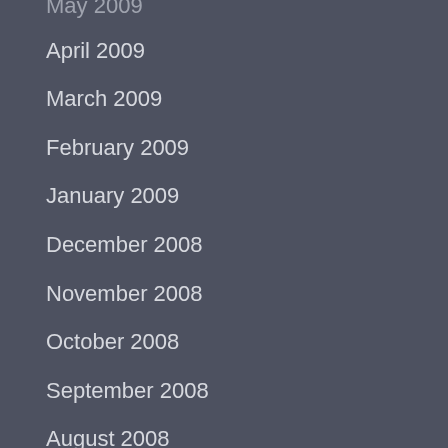May 2009
April 2009
March 2009
February 2009
January 2009
December 2008
November 2008
October 2008
September 2008
August 2008
July 2008
June 2008
May 2008
April 2008